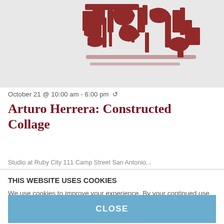[Figure (photo): Artwork image showing abstract red graphic design on light grey background — Arturo Herrera work]
October 21 @ 10:00 am - 6:00 pm ↺
Arturo Herrera: Constructed Collage
Studio at Ruby City 111 Camp Street San Antonio...
THIS WEBSITE USES COOKIES
We use cookies to improve your experience. By your continued use of this site you accept such use. For more information see our policy. Do Not Sell My Personal Information
CLOSE